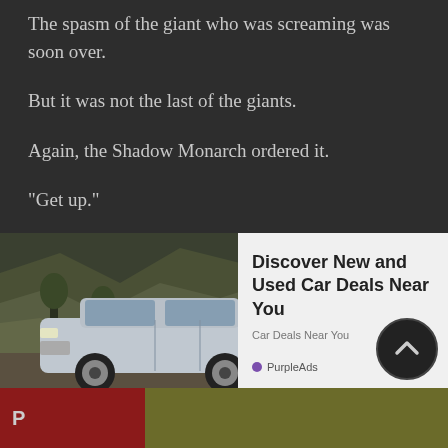The spasm of the giant who was screaming was soon over.
But it was not the last of the giants.
Again, the Shadow Monarch ordered it.
“Get up.”
OK.
Uh-uh – A giant-sized shadow next to the corpse of a giant whose face has almost disappeared from the worms caused its huge body to slip slowly.
Even under the body of the giant, one and two shadow soldie
[Figure (screenshot): Advertisement overlay showing a silver Ford Explorer SUV in a rocky outdoor setting, with a white card on the right reading 'Discover New and Used Car Deals Near You' with 'Car Deals Near You' subtitle and PurpleAds branding.]
P
[Figure (other): Scroll-to-top circular button with upward chevron arrow icon.]